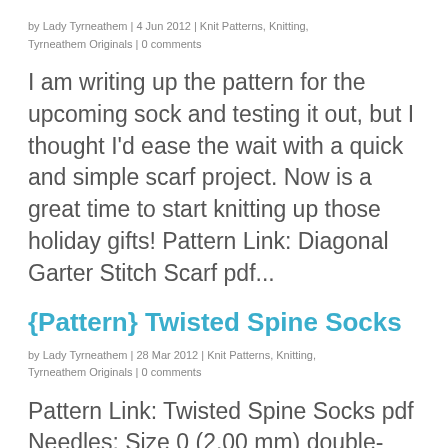by Lady Tyrneathem | 4 Jun 2012 | Knit Patterns, Knitting, Tyrneathem Originals | 0 comments
I am writing up the pattern for the upcoming sock and testing it out, but I thought I'd ease the wait with a quick and simple scarf project. Now is a great time to start knitting up those holiday gifts! Pattern Link: Diagonal Garter Stitch Scarf pdf...
{Pattern} Twisted Spine Socks
by Lady Tyrneathem | 28 Mar 2012 | Knit Patterns, Knitting, Tyrneathem Originals | 0 comments
Pattern Link: Twisted Spine Socks pdf Needles: Size 0 (2.00 mm) double-point needles (pattern can be easily modified for other circular knitting methods) Yarn: About 400 yards of any fingering...